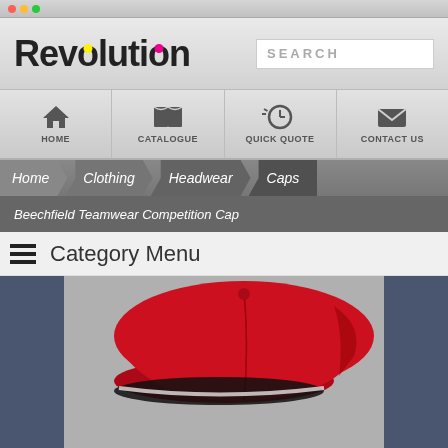[Figure (screenshot): Browser window chrome bar at top]
[Figure (logo): Revolution logo with CMYK colored dot in the O, and a search box to the right]
[Figure (infographic): Navigation bar with HOME, CATALOGUE, QUICK QUOTE, CONTACT US icons]
Home / Clothing / Headwear / Caps
Beechfield Teamwear Competition Cap
Category Menu
[Figure (photo): Product photo of a red and black competition cap on a grey background]